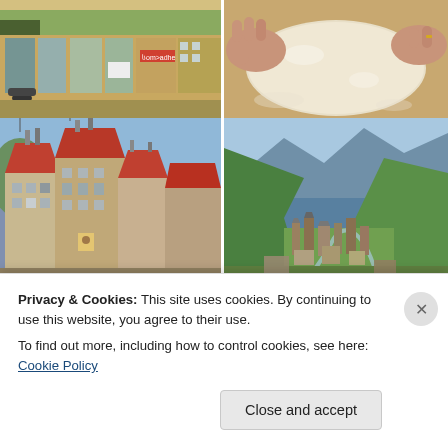[Figure (photo): Urban street scene painting with colorful buildings, shops, a motorbike, and pedestrians in a style reminiscent of Van Gogh]
[Figure (photo): Hands pressing flat bread dough on a floured wooden surface]
[Figure (photo): Painting of old European-style stone buildings with red roofs and multiple chimneys]
[Figure (photo): Photograph of a green mountain valley with ancient stone tower village at the base of the mountains]
Privacy & Cookies: This site uses cookies. By continuing to use this website, you agree to their use.
To find out more, including how to control cookies, see here: Cookie Policy
Close and accept